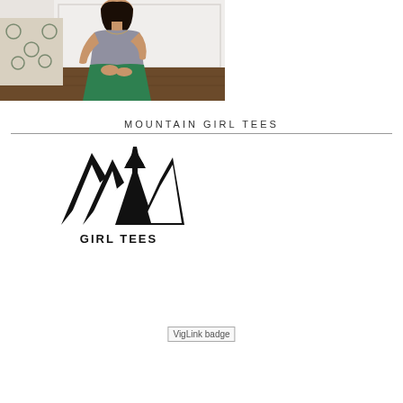[Figure (photo): A woman with dark hair sitting on a wooden floor, wearing a grey t-shirt and a green skirt, with a patterned fabric backdrop behind her.]
MOUNTAIN GIRL TEES
[Figure (logo): Mountain Girl Tees logo: stylized black mountain peaks with an upward arrow, and text 'GIRL TEES' below.]
[Figure (other): VigLink badge]